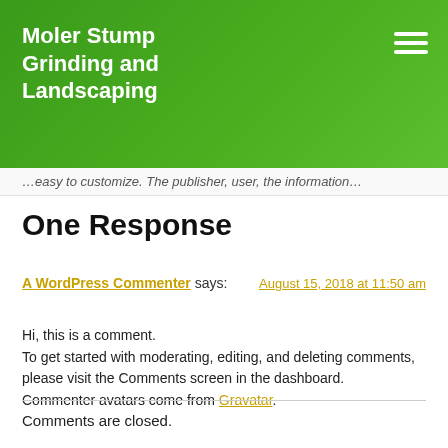Moler Stump Grinding and Landscaping
…easy to customize. The publisher, user, the information…
One Response
A WordPress Commenter says: August 15, 2018 at 11:50 am
Hi, this is a comment.
To get started with moderating, editing, and deleting comments, please visit the Comments screen in the dashboard.
Commenter avatars come from Gravatar.
Comments are closed.